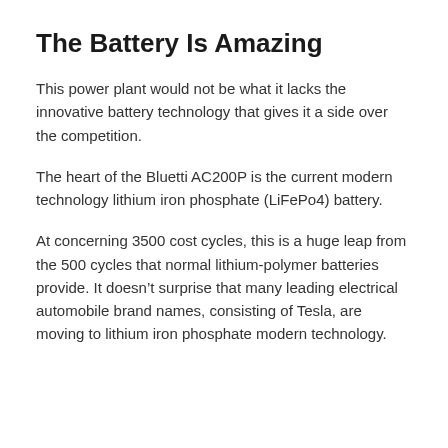The Battery Is Amazing
This power plant would not be what it lacks the innovative battery technology that gives it a side over the competition.
The heart of the Bluetti AC200P is the current modern technology lithium iron phosphate (LiFePo4) battery.
At concerning 3500 cost cycles, this is a huge leap from the 500 cycles that normal lithium-polymer batteries provide. It doesn’t surprise that many leading electrical automobile brand names, consisting of Tesla, are moving to lithium iron phosphate modern technology.